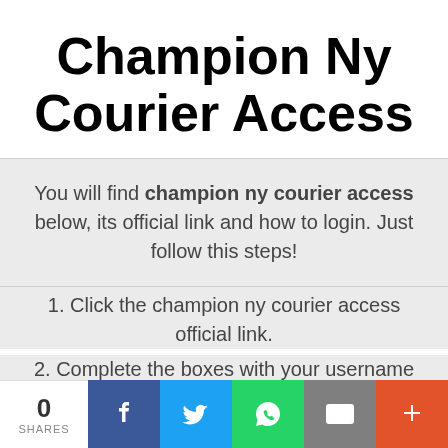Champion Ny Courier Access
You will find champion ny courier access below, its official link and how to login. Just follow this steps!
1. Click the champion ny courier access official link.
2. Complete the boxes with your username